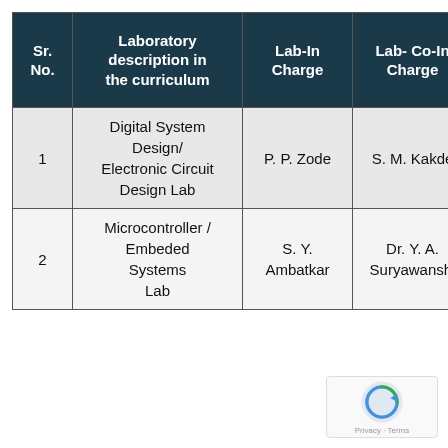| Sr. No. | Laboratory description in the curriculum | Lab-In Charge | Lab- Co-In Charge | Lab Asst/ Asst Atte |
| --- | --- | --- | --- | --- |
| 1 | Digital System Design/ Electronic Circuit Design Lab | P. P. Zode | S. M. Kakde | P. Chind |
| 2 | Microcontroller / Embeded Systems Lab | S. Y. Ambatkar | Dr. Y. A. Suryawanshi | B. B. |